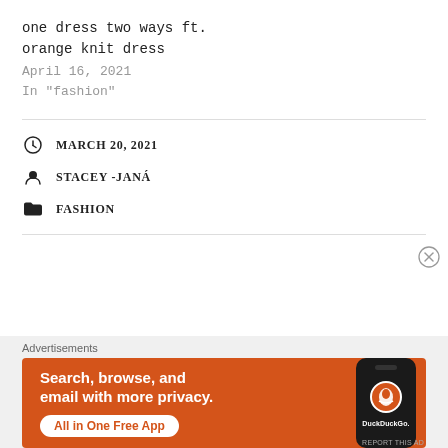one dress two ways ft.
orange knit dress
April 16, 2021
In "fashion"
MARCH 20, 2021
STACEY -JANÁ
FASHION
Advertisements
[Figure (screenshot): DuckDuckGo advertisement banner with orange background. Text reads 'Search, browse, and email with more privacy. All in One Free App' with a phone showing DuckDuckGo logo.]